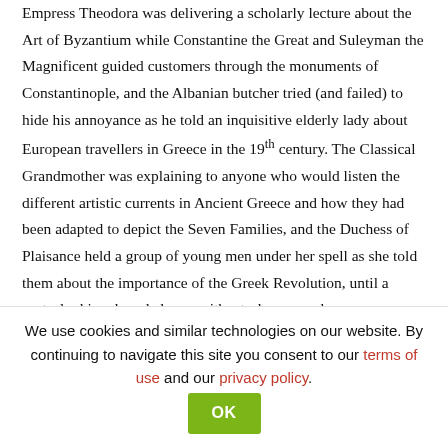Empress Theodora was delivering a scholarly lecture about the Art of Byzantium while Constantine the Great and Suleyman the Magnificent guided customers through the monuments of Constantinople, and the Albanian butcher tried (and failed) to hide his annoyance as he told an inquisitive elderly lady about European travellers in Greece in the 19th century. The Classical Grandmother was explaining to anyone who would listen the different artistic currents in Ancient Greece and how they had been adapted to depict the Seven Families, and the Duchess of Plaisance held a group of young men under her spell as she told them about the importance of the Greek Revolution, until a nasty-looking, bearded man with a turban came by.
“You should know that Greece was far better off during the
We use cookies and similar technologies on our website. By continuing to navigate this site you consent to our terms of use and our privacy policy.